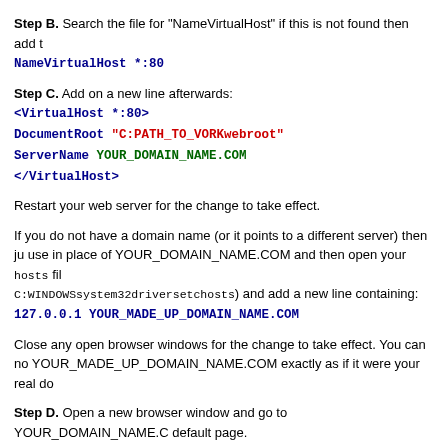Step B. Search the file for "NameVirtualHost" if this is not found then add t
NameVirtualHost *:80
Step C. Add on a new line afterwards:
<VirtualHost *:80>
DocumentRoot "C:PATH_TO_VORKwebroot"
ServerName YOUR_DOMAIN_NAME.COM
</VirtualHost>
Restart your web server for the change to take effect.
If you do not have a domain name (or it points to a different server) then ju use in place of YOUR_DOMAIN_NAME.COM and then open your hosts file C:WINDOWSsystem32driversetchosts) and add a new line containing:
127.0.0.1 YOUR_MADE_UP_DOMAIN_NAME.COM
Close any open browser windows for the change to take effect. You can no YOUR_MADE_UP_DOMAIN_NAME.COM exactly as if it were your real do
Step D. Open a new browser window and go to YOUR_DOMAIN_NAME.C default page.
Troubleshooting